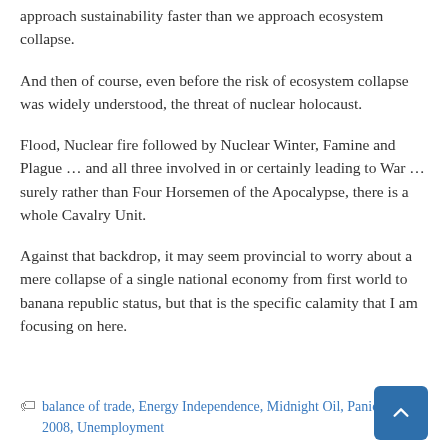approach sustainability faster than we approach ecosystem collapse.
And then of course, even before the risk of ecosystem collapse was widely understood, the threat of nuclear holocaust.
Flood, Nuclear fire followed by Nuclear Winter, Famine and Plague … and all three involved in or certainly leading to War … surely rather than Four Horsemen of the Apocalypse, there is a whole Cavalry Unit.
Against that backdrop, it may seem provincial to worry about a mere collapse of a single national economy from first world to banana republic status, but that is the specific calamity that I am focusing on here.
balance of trade, Energy Independence, Midnight Oil, Panic of 2008, Unemployment